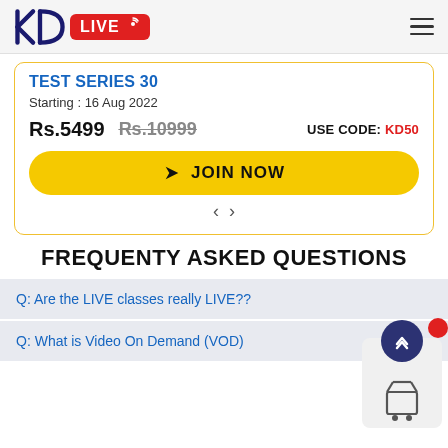KD LIVE
TEST SERIES 30
Starting : 16 Aug 2022
Rs.5499  Rs.10999  USE CODE: KD50
JOIN NOW
FREQUENTY ASKED QUESTIONS
Q: Are the LIVE classes really LIVE??
Q: What is Video On Demand (VOD)